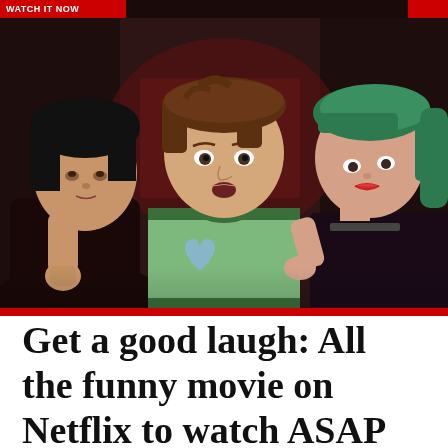Watch it now
[Figure (photo): Three people in a dimly lit scene. Center: young man with brown hair wearing a green ringer t-shirt with a blue heart graphic, looking surprised. Left: woman with black bob hair, partially visible. Right: woman with green hair wearing black top with a choker necklace.]
Get a good laugh: All the funny movie on Netflix to watch ASAP